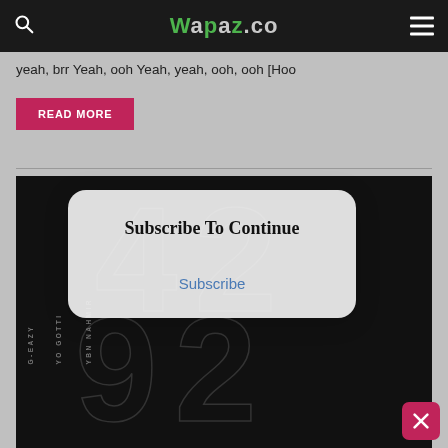wapaz.co
yeah, brr Yeah, ooh Yeah, yeah, ooh, ooh [Hoo
READ MORE
[Figure (screenshot): Album cover on dark background with large outline numbers and rotated artist name text reading YBN NAHMIR, YO GOTTI, G-EAZY]
Subscribe To Continue
Subscribe